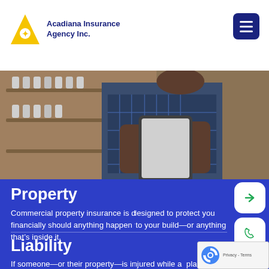Acadiana Insurance Agency Inc.
[Figure (photo): Person holding a tablet in a store with shelves of products in the background, wearing a plaid shirt]
Property
Commercial property insurance is designed to protect you financially should anything happen to your building—or anything that’s inside it.
Liability
If someone—or their property—is injured while at your place of business, then you could be held liable for the